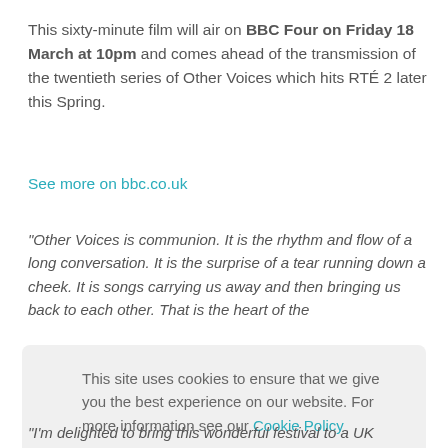This sixty-minute film will air on BBC Four on Friday 18 March at 10pm and comes ahead of the transmission of the twentieth series of Other Voices which hits RTÉ 2 later this Spring.
See more on bbc.co.uk
“Other Voices is communion. It is the rhythm and flow of a long conversation. It is the surprise of a tear running down a cheek. It is songs carrying us away and then bringing us back to each other. That is the heart of the
This site uses cookies to ensure that we give you the best experience on our website. For more information see our Cookie Policy
“I’m delighted to bring this wonderful festival to a UK